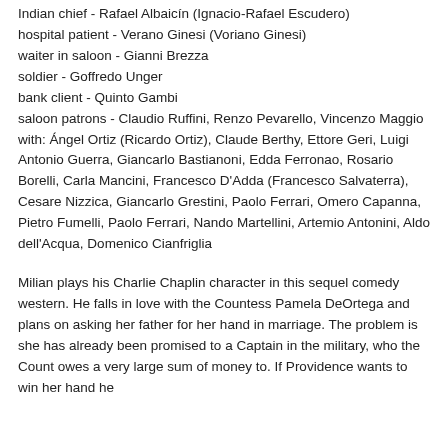Indian chief - Rafael Albaicín (Ignacio-Rafael Escudero)
hospital patient - Verano Ginesi (Voriano Ginesi)
waiter in saloon - Gianni Brezza
soldier - Goffredo Unger
bank client - Quinto Gambi
saloon patrons - Claudio Ruffini, Renzo Pevarello, Vincenzo Maggio
with: Ángel Ortiz (Ricardo Ortiz), Claude Berthy, Ettore Geri, Luigi Antonio Guerra, Giancarlo Bastianoni, Edda Ferronao, Rosario Borelli, Carla Mancini, Francesco D'Adda (Francesco Salvaterra), Cesare Nizzica, Giancarlo Grestini, Paolo Ferrari, Omero Capanna, Pietro Fumelli, Paolo Ferrari, Nando Martellini, Artemio Antonini, Aldo dell'Acqua, Domenico Cianfriglia
Milian plays his Charlie Chaplin character in this sequel comedy western. He falls in love with the Countess Pamela DeOrtega and plans on asking her father for her hand in marriage. The problem is she has already been promised to a Captain in the military, who the Count owes a very large sum of money to. If Providence wants to win her hand he